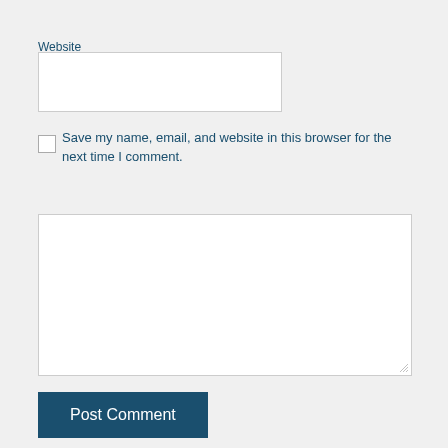Website
[Figure (screenshot): Empty text input field for Website URL]
[Figure (screenshot): Unchecked checkbox]
Save my name, email, and website in this browser for the next time I comment.
[Figure (screenshot): Large empty textarea for comment input]
Post Comment